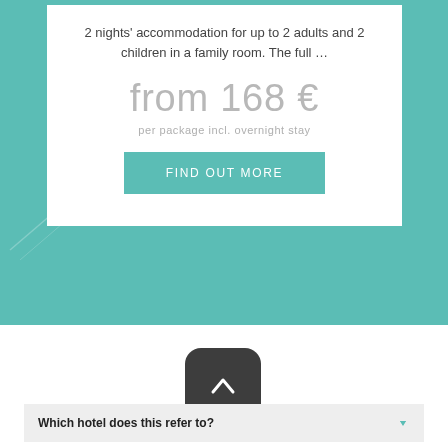2 nights' accommodation for up to 2 adults and 2 children in a family room. The full …
from 168 €
per package incl. overnight stay
FIND OUT MORE
Which hotel does this refer to?